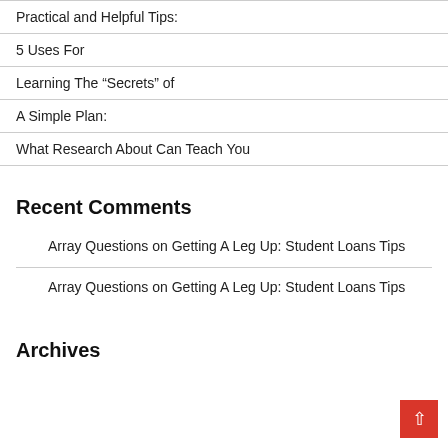Practical and Helpful Tips:
5 Uses For
Learning The “Secrets” of
A Simple Plan:
What Research About Can Teach You
Recent Comments
Array Questions on Getting A Leg Up: Student Loans Tips
Array Questions on Getting A Leg Up: Student Loans Tips
Archives